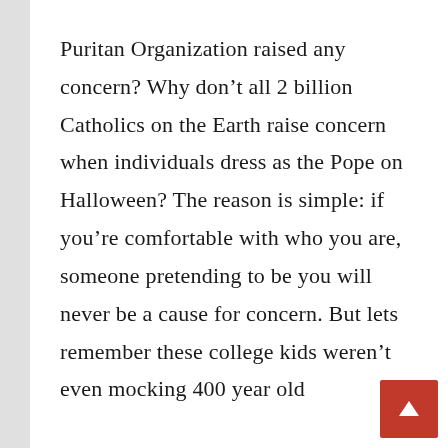Puritan Organization raised any concern? Why don't all 2 billion Catholics on the Earth raise concern when individuals dress as the Pope on Halloween? The reason is simple: if you're comfortable with who you are, someone pretending to be you will never be a cause for concern. But lets remember these college kids weren't even mocking 400 year old